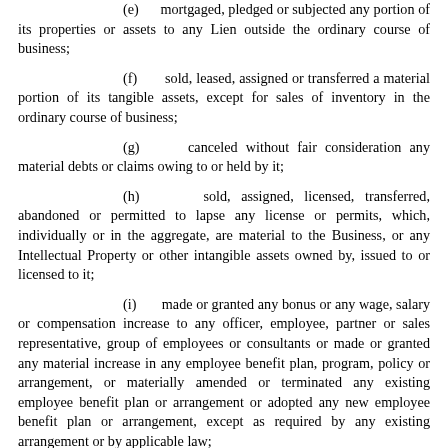(e) mortgaged, pledged or subjected any portion of its properties or assets to any Lien outside the ordinary course of business;
(f) sold, leased, assigned or transferred a material portion of its tangible assets, except for sales of inventory in the ordinary course of business;
(g) canceled without fair consideration any material debts or claims owing to or held by it;
(h) sold, assigned, licensed, transferred, abandoned or permitted to lapse any license or permits, which, individually or in the aggregate, are material to the Business, or any Intellectual Property or other intangible assets owned by, issued to or licensed to it;
(i) made or granted any bonus or any wage, salary or compensation increase to any officer, employee, partner or sales representative, group of employees or consultants or made or granted any material increase in any employee benefit plan, program, policy or arrangement, or materially amended or terminated any existing employee benefit plan or arrangement or adopted any new employee benefit plan or arrangement, except as required by any existing arrangement or by applicable law;